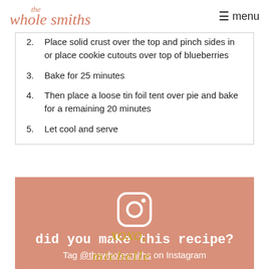the whole smiths  menu
2. Place solid crust over the top and pinch sides in or place cookie cutouts over top of blueberries
3. Bake for 25 minutes
4. Then place a loose tin foil tent over pie and bake for a remaining 20 minutes
5. Let cool and serve
[Figure (infographic): Instagram logo icon (white rounded square with camera outline) on salmon/blush pink background, with text 'did you make this recipe?' and 'Tag @thewholesmiths on Instagram']
[Figure (illustration): Handwritten gold script signature reading 'xoxo,' followed by a stylized script signature, partially visible at bottom of page]